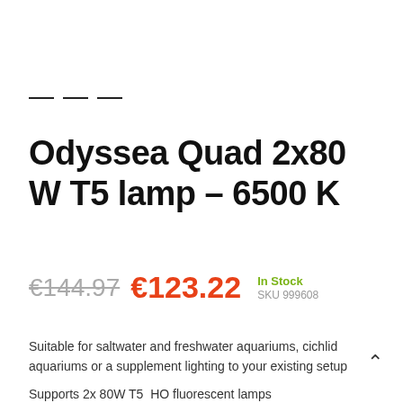Odyssea Quad 2x80 W T5 lamp – 6500 K
€144.97 €123.22  In Stock  SKU 999608
Suitable for saltwater and freshwater aquariums, cichlid aquariums or a supplement lighting to your existing setup
Supports 2x 80W T5  HO fluorescent lamps